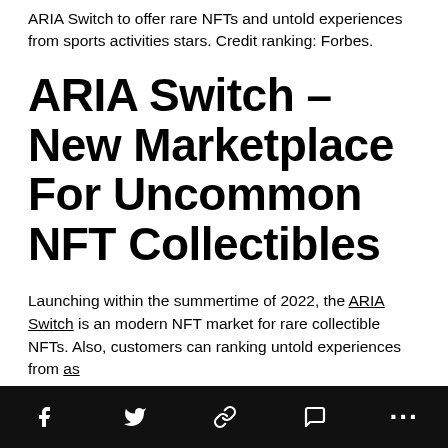ARIA Switch to offer rare NFTs and untold experiences from sports activities stars. Credit ranking: Forbes.
ARIA Switch – New Marketplace For Uncommon NFT Collectibles
Launching within the summertime of 2022, the ARIA Switch is an modern NFT market for rare collectible NFTs. Also, customers can ranking untold experiences from as
Social share icons: Facebook, Twitter, Link, Comment, More